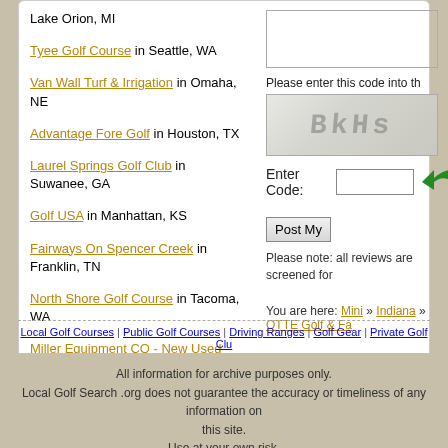Lake Orion, MI
Tyee Golf Course in Seattle, WA
Van Wall Turf & Irrigation in Omaha, NE
Advantage Fore Golf in Houston, TX
Laurel Springs Golf Club in Suwanee, GA
Golf USA in Manhattan, KS
Fairways On Spencer Creek in Franklin, TN
North Shore Golf Course in Tacoma, WA
Miller Equipment CO - New Used Gas & Electric in Trenton, NJ
[Figure (other): Empty text input box on right side]
Please enter this code into the box below:
[Figure (other): CAPTCHA image showing distorted text 'BkHs']
Enter Code:
[Figure (other): Green curved arrow pointing left]
Post My
Please note: all reviews are screened for
You are here: Mini » Indiana » OTTE Golf & Fa
Local Golf Courses | Public Golf Courses | Driving Ranges | Golf Gear | Private Golf Clubs
All information for archive purposes only. Local Golf Search .org does not guarantee the accuracy or timeliness of any information on this site. Use at your own risk.